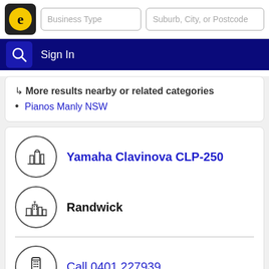Business Type | Suburb, City, or Postcode | Sign In
↳ More results nearby or related categories
Pianos Manly NSW
Yamaha Clavinova CLP-250
Randwick
Call 0401 227939
Pianos & Organs Retail & Second-hand